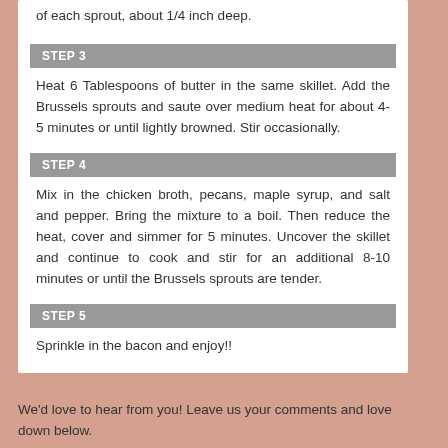of each sprout, about 1/4 inch deep.
STEP 3
Heat 6 Tablespoons of butter in the same skillet. Add the Brussels sprouts and saute over medium heat for about 4-5 minutes or until lightly browned. Stir occasionally.
STEP 4
Mix in the chicken broth, pecans, maple syrup, and salt and pepper. Bring the mixture to a boil. Then reduce the heat, cover and simmer for 5 minutes. Uncover the skillet and continue to cook and stir for an additional 8-10 minutes or until the Brussels sprouts are tender.
STEP 5
Sprinkle in the bacon and enjoy!!
We'd love to hear from you! Leave us your comments and love down below.